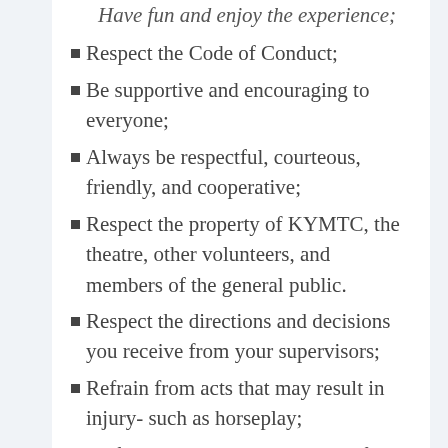Have fun and enjoy the experience;
Respect the Code of Conduct;
Be supportive and encouraging to everyone;
Always be respectful, courteous, friendly, and cooperative;
Respect the property of KYMTC, the theatre, other volunteers, and members of the general public.
Respect the directions and decisions you receive from your supervisors;
Refrain from acts that may result in injury- such as horseplay;
Perform your duties to the best of your abilities and bring appropriate dis...